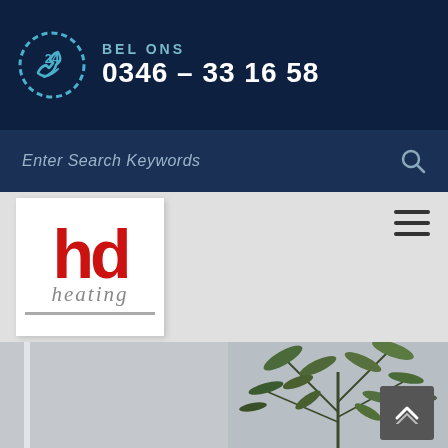BEL ONS 0346 - 33 16 58
Enter Search Keywords
[Figure (logo): hd heating company logo with red bold 'hd' letters and italic grey 'heating' text below, with underline]
[Figure (photo): Indoor plant with green foliage, partially visible at bottom right of the page]